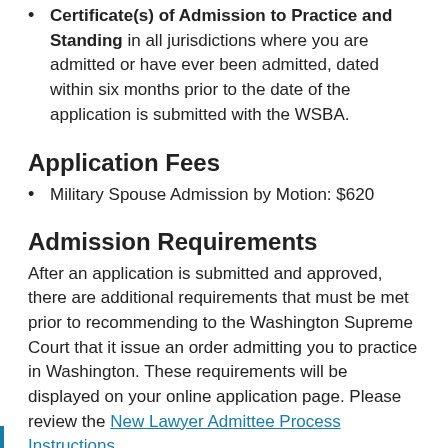Certificate(s) of Admission to Practice and Standing in all jurisdictions where you are admitted or have ever been admitted, dated within six months prior to the date of the application is submitted with the WSBA.
Application Fees
Military Spouse Admission by Motion: $620
Admission Requirements
After an application is submitted and approved, there are additional requirements that must be met prior to recommending to the Washington Supreme Court that it issue an order admitting you to practice in Washington. These requirements will be displayed on your online application page. Please review the New Lawyer Admittee Process Instructions.